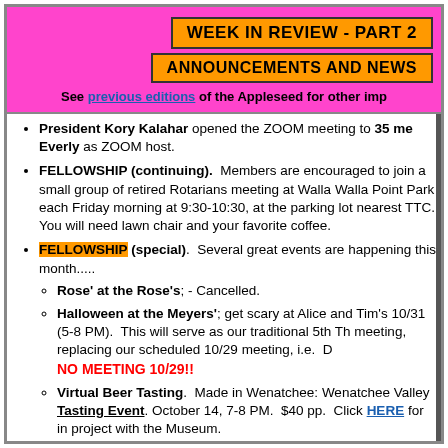WEEK IN REVIEW - PART 2
ANNOUNCEMENTS AND NEWS
See previous editions of the Appleseed for other imp
President Kory Kalahar opened the ZOOM meeting to 35 me... Everly as ZOOM host.
FELLOWSHIP (continuing). Members are encouraged to join a small group of retired Rotarians meeting at Walla Walla Point Park each Friday morning at 9:30-10:30, at the parking lot nearest TTC. You will need lawn chair and your favorite coffee.
FELLOWSHIP (special). Several great events are happening this month.....
Rose' at the Rose's; - Cancelled.
Halloween at the Meyers'; get scary at Alice and Tim's 10/31 (5-8 PM). This will serve as our traditional 5th Th meeting, replacing our scheduled 10/29 meeting, i.e. D NO MEETING 10/29!!
Virtual Beer Tasting. Made in Wenatchee: Wenatchee Valley Tasting Event. October 14, 7-8 PM. $40 pp. Click HERE for in project with the Museum.
Projects Kory thinks we may be about 25% toward completi